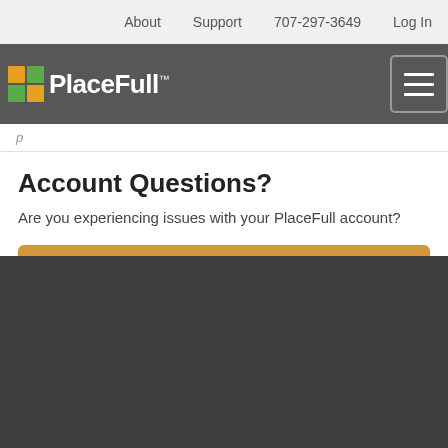About   Support   707-297-3649   Log In
[Figure (logo): PlaceFull logo with colorful square icon and white text on dark gray header bar with hamburger menu button]
Account Questions?
Are you experiencing issues with your PlaceFull account?
Contact Support